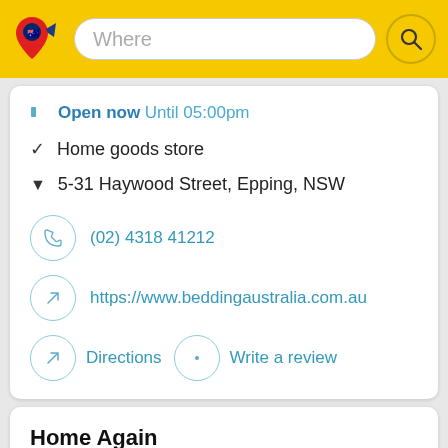[Figure (screenshot): Yellow header bar with map pin logo (Australian flag), a search field labeled 'Where', and a circular search button with magnifying glass icon]
Open now Until 05:00pm
✓  Home goods store
▼  5-31 Haywood Street, Epping, NSW
(02) 4318 41212
https://www.beddingaustralia.com.au
Directions
Write a review
Home Again
Establishment, Home goods store, Furniture store - Epping, NSW 2121